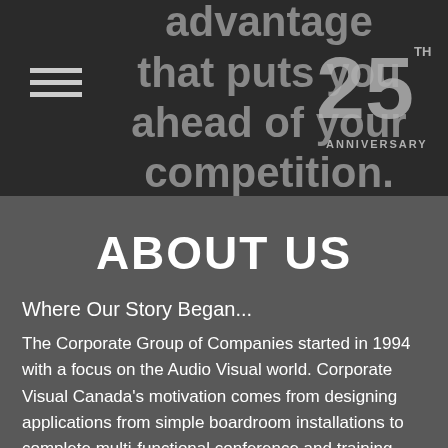advantage that puts you ahead of your competition.
[Figure (logo): 25th Anniversary badge/logo in white and silver on dark background]
ABOUT US
Where Our Story Began...
The Corporate Group of Companies started in 1994 with a focus on the Audio Visual world. Corporate Visual Canada’s motivation comes from designing applications from simple boardroom installations to complete multi-functional conference and training rooms. As technologies converged and clients needs evolved, there